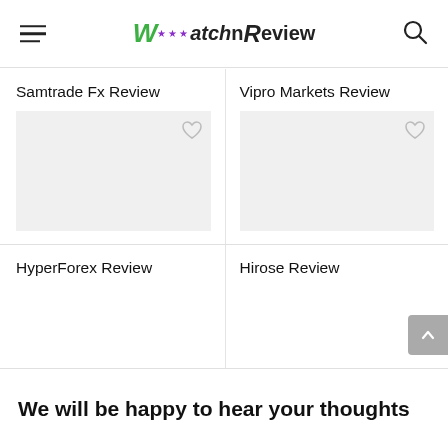WatchnReview
Samtrade Fx Review
Vipro Markets Review
HyperForex Review
Hirose Review
We will be happy to hear your thoughts